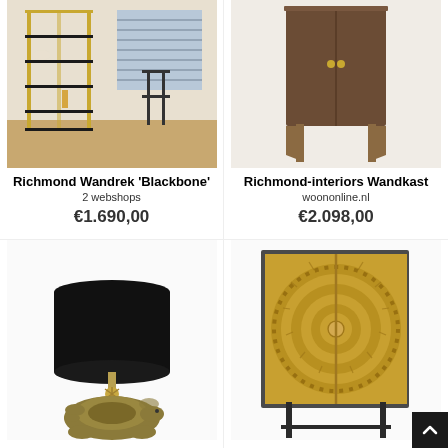[Figure (photo): Gold metal shelving unit 'Blackbone' in a modern interior with wooden floor and window blinds]
Richmond Wandrek 'Blackbone'
2 webshops
€1.690,00
[Figure (photo): Dark wood wall cabinet on metal legs (Richmond-interiors Wandkast)]
Richmond-interiors Wandkast
woononline.nl
€2.098,00
[Figure (photo): Table lamp with black cylindrical shade on a bronze tortoise/turtle figurine base]
[Figure (photo): Gold decorative cabinet with sunburst/mandala pattern doors on black metal legs]